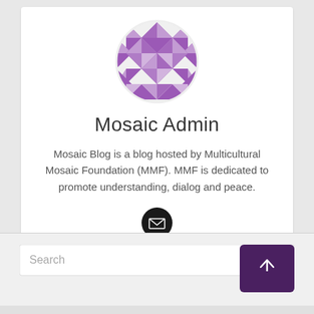[Figure (logo): Circular mosaic pattern logo in purple and white geometric star/diamond shapes]
Mosaic Admin
Mosaic Blog is a blog hosted by Multicultural Mosaic Foundation (MMF). MMF is dedicated to promote understanding, dialog and peace.
[Figure (illustration): Black circular email/envelope icon button]
[Figure (illustration): Search input bar with purple scroll-to-top button with upward arrow]